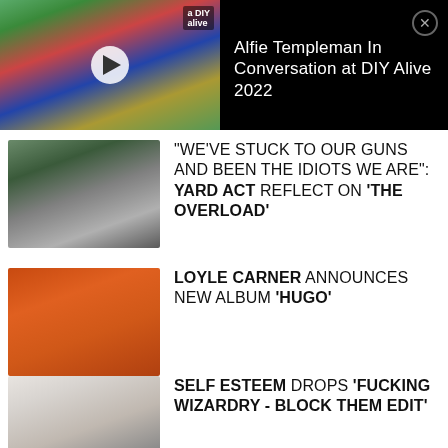[Figure (screenshot): Video thumbnail showing two people in conversation at DIY Alive 2022 event, with play button overlay]
Alfie Templeman In Conversation at DIY Alive 2022
[Figure (photo): Photo of Yard Act band members, black and white style group photo outdoors]
"WE'VE STUCK TO OUR GUNS AND BEEN THE IDIOTS WE ARE": YARD ACT REFLECT ON 'THE OVERLOAD'
[Figure (photo): Photo of Loyle Carner smiling in front of orange/yellow background]
LOYLE CARNER ANNOUNCES NEW ALBUM 'HUGO'
[Figure (photo): Photo of Self Esteem artist posing with robotic-style legs/stilts]
SELF ESTEEM DROPS 'FUCKING WIZARDRY - BLOCK THEM EDIT'